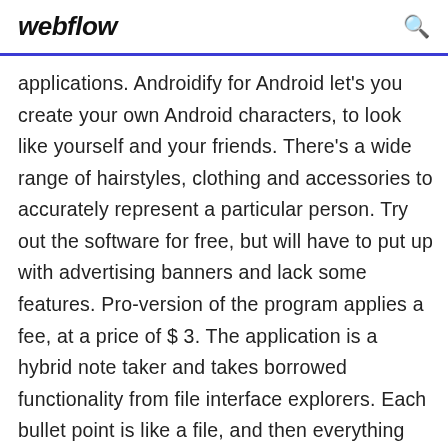webflow
applications. Androidify for Android let's you create your own Android characters, to look like yourself and your friends. There's a wide range of hairstyles, clothing and accessories to accurately represent a particular person. Try out the software for free, but will have to put up with advertising banners and lack some features. Pro-version of the program applies a fee, at a price of $ 3. The application is a hybrid note taker and takes borrowed functionality from file interface explorers. Each bullet point is like a file, and then everything under it is part of the file. Automate for Android unleashes the power of your gizmo by putting you in control